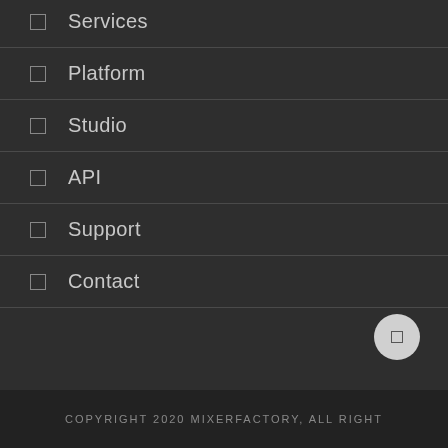Services
Platform
Studio
API
Support
Contact
COPYRIGHT 2020 MIXERFACTORY, ALL RIGHT